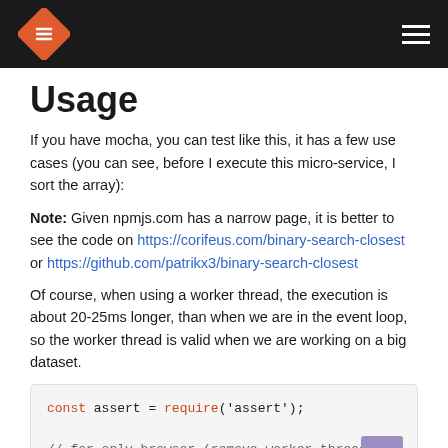Navigation header with logo and menu
Usage
If you have mocha, you can test like this, it has a few use cases (you can see, before I execute this micro-service, I sort the array):
Note: Given npmjs.com has a narrow page, it is better to see the code on https://corifeus.com/binary-search-closest or https://github.com/patrikx3/binary-search-closest
Of course, when using a worker thread, the execution is about 20-25ms longer, than when we are in the event loop, so the worker thread is valid when we are working on a big dataset.
const assert = require('assert');
// for only browser (remove worker thread as is NodeJs Specific)